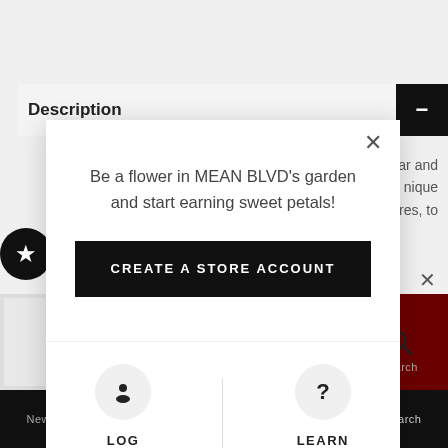Description
lar and
nique
ures, to
[Figure (screenshot): E-commerce website popup modal for MEAN BLVD loyalty program sign-up. The modal contains the text 'Be a flower in MEAN BLVD's garden and start earning sweet petals!', a 'CREATE A STORE ACCOUNT' button, a 'LOG IN' option with user icon, and a 'LEARN MORE' option with question mark icon. Background shows a product description page.]